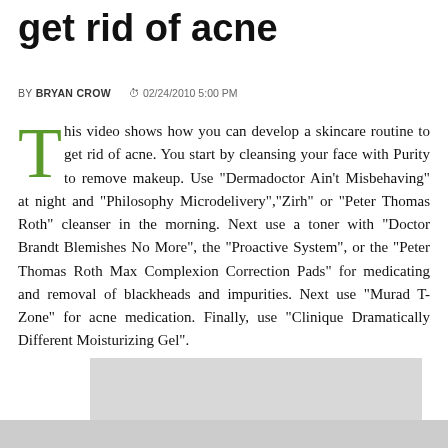get rid of acne
BY BRYAN CROW  02/24/2010 5:00 PM
This video shows how you can develop a skincare routine to get rid of acne. You start by cleansing your face with Purity to remove makeup. Use "Dermadoctor Ain't Misbehaving" at night and "Philosophy Microdelivery","Zirh" or "Peter Thomas Roth" cleanser in the morning. Next use a toner with "Doctor Brandt Blemishes No More", the "Proactive System", or the "Peter Thomas Roth Max Complexion Correction Pads" for medicating and removal of blackheads and impurities. Next use "Murad T-Zone" for acne medication. Finally, use "Clinique Dramatically Different Moisturizing Gel".
[Figure (other): Gray placeholder box for embedded video]